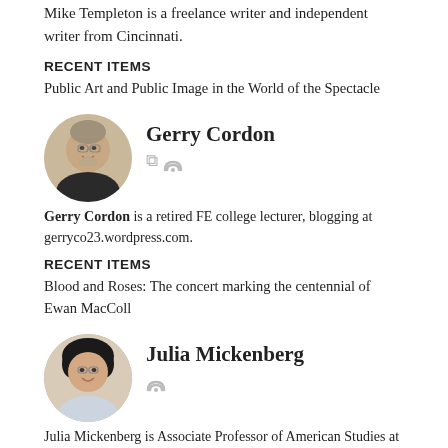Mike Templeton is a freelance writer and independent writer from Cincinnati.
RECENT ITEMS
Public Art and Public Image in the World of the Spectacle
[Figure (photo): Circular headshot photo of Gerry Cordon, a man with glasses and a beard, smiling]
Gerry Cordon
Gerry Cordon is a retired FE college lecturer, blogging at gerryco23.wordpress.com.
RECENT ITEMS
Blood and Roses: The concert marking the centennial of Ewan MacColl
[Figure (photo): Circular headshot photo of Julia Mickenberg, a woman with glasses and dark curly hair, smiling]
Julia Mickenberg
Julia Mickenberg is Associate Professor of American Studies at the University of Texas at Austin. She is the author of Learning